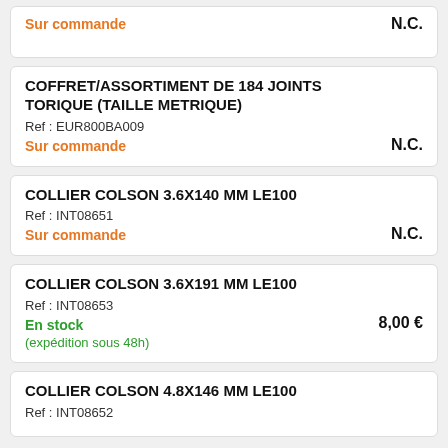Sur commande — N.C.
COFFRET/ASSORTIMENT DE 184 JOINTS TORIQUE (TAILLE METRIQUE)
Ref : EUR800BA009
Sur commande — N.C.
COLLIER COLSON 3.6X140 MM LE100
Ref : INT08651
Sur commande — N.C.
COLLIER COLSON 3.6X191 MM LE100
Ref : INT08653
En stock (expédition sous 48h) — 8,00 €
COLLIER COLSON 4.8X146 MM LE100
Ref : INT08652